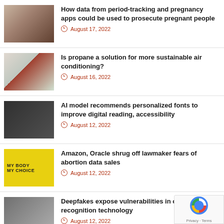How data from period-tracking and pregnancy apps could be used to prosecute pregnant people — August 17, 2022
Is propane a solution for more sustainable air conditioning? — August 16, 2022
AI model recommends personalized fonts to improve digital reading, accessibility — August 12, 2022
Amazon, Oracle shrug off lawmaker fears of abortion data sales — August 12, 2022
Deepfakes expose vulnerabilities in certain facial recognition technology — August 12, 2022